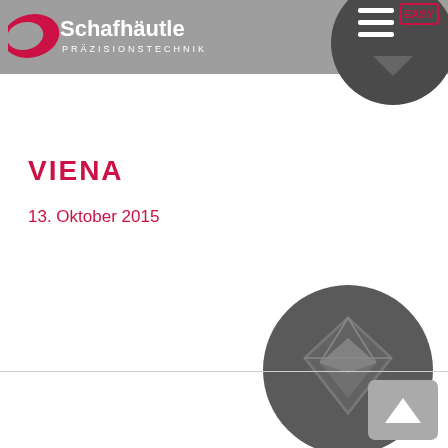[Figure (logo): Schafhäutle Präzisionstechnik logo with red swoosh shape and company name in white text on grey bar]
[Figure (other): Dark circle with hamburger menu icon and red EASY stamp label, and downward-pointing arrow chevron]
VIENA
13. Oktober 2015
[Figure (other): Dark grey circle with diamond/gem icon in the center]
[Figure (other): Grey rounded square back-to-top button with upward caret arrow]